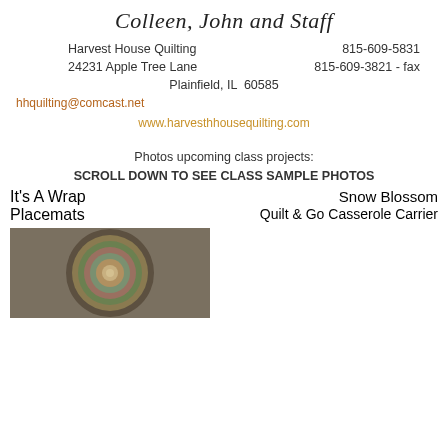Colleen, John and Staff
Harvest House Quilting
815-609-5831
24231 Apple Tree Lane
815-609-3821 - fax
Plainfield, IL  60585
hhquilting@comcast.net
www.harvesthhousequilting.com
Photos upcoming class projects:
SCROLL DOWN TO SEE CLASS SAMPLE PHOTOS
It's A Wrap
Placemats
Snow Blossom
Quilt & Go Casserole Carrier
[Figure (photo): A circular spiral quilt placemat with colorful fabric strips arranged in concentric circles, photographed from above.]